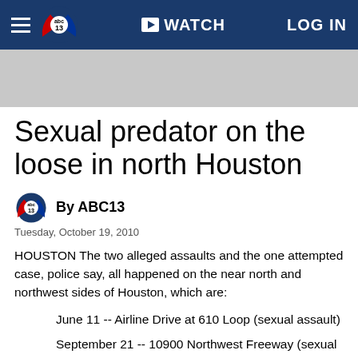abc13 | WATCH | LOG IN
[Figure (other): Gray advertisement banner area]
Sexual predator on the loose in north Houston
By ABC13
Tuesday, October 19, 2010
HOUSTON The two alleged assaults and the one attempted case, police say, all happened on the near north and northwest sides of Houston, which are:
June 11 -- Airline Drive at 610 Loop (sexual assault)
September 21 -- 10900 Northwest Freeway (sexual